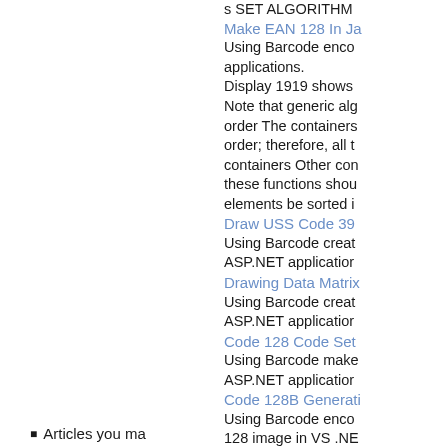s SET ALGORITHM
Make EAN 128 In Ja
Using Barcode enco applications.
Display 1919 shows
Note that generic alg order The containers order; therefore, all t containers Other con these functions shou elements be sorted i
Draw USS Code 39
Using Barcode creat ASP.NET applicatior
Drawing Data Matrix
Using Barcode creat ASP.NET applicatior
Code 128 Code Set
Using Barcode make ASP.NET applicatior
Code 128B Generati
Using Barcode enco 128 image in VS .NE
Articles you ma